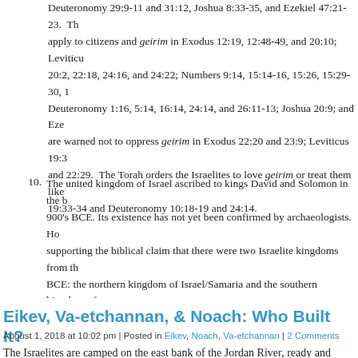Geirim (גרים) — resident aliens (in biblical Hebrew). Geirim are included in Deuteronomy 29:9-11 and 31:12, Joshua 8:33-35, and Ezekiel 47:21-23. The same laws apply to citizens and geirim in Exodus 12:19, 12:48-49, and 20:10; Leviticus 20:2, 22:18, 24:16, and 24:22; Numbers 9:14, 15:14-16, 15:26, 15:29-30, 19:10; Deuteronomy 1:16, 5:14, 16:14, 24:14, and 26:11-13; Joshua 20:9; and Ezekiel. Israelites are warned not to oppress geirim in Exodus 22:20 and 23:9; Leviticus 19:33 and 22:29. The Torah orders the Israelites to love geirim or treat them like Leviticus 19:33-34 and Deuteronomy 10:18-19 and 24:14.
The united kingdom of Israel ascribed to kings David and Solomon in the b… 900's BCE. Its existence has not yet been confirmed by archaeologists. Ho… supporting the biblical claim that there were two Israelite kingdoms from th… BCE: the northern kingdom of Israel/Samaria and the southern kingdom of…
Eikev, Va-etchannan, & Noach: Who Built It?
August 1, 2018 at 10:02 pm | Posted in Eikev, Noach, Va-etchannan | 2 Comments
The Israelites are camped on the east bank of the Jordan River, ready and willing to cross over and do to the native populations of Canaan what they have already done to the Amorites and Midianites east of the Jordan: burn all their towns, kill all their men, and take over all their land—with God's explicit approval and assistance.¹